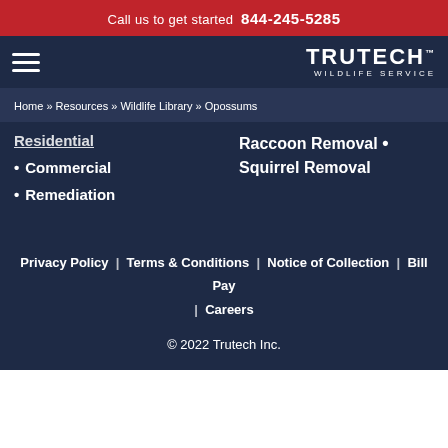Call us to get started 844-245-5285
[Figure (logo): Trutech Wildlife Service logo with hamburger menu icon]
Home » Resources » Wildlife Library » Opossums
Residential
Commercial
Remediation
Raccoon Removal • Squirrel Removal
Privacy Policy | Terms & Conditions | Notice of Collection | Bill Pay | Careers
© 2022 Trutech Inc.